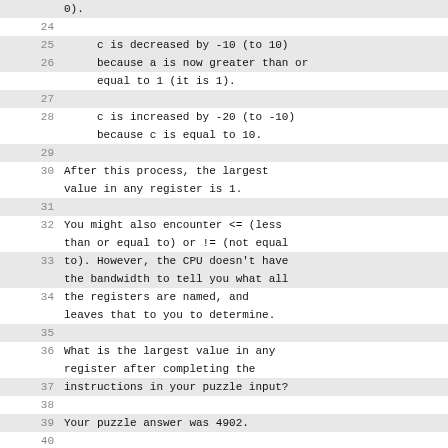(line 24, shaded) blank
25: c is decreased by -10 (to 10) because a is now greater than or
26: equal to 1 (it is 1).
27: blank
28: c is increased by -20 (to -10) because c is equal to 10.
29: blank
30: After this process, the largest value in any register is 1.
31: blank
32: You might also encounter <= (less than or equal to) or != (not equal
33: to). However, the CPU doesn't have the bandwidth to tell you what all
34: the registers are named, and leaves that to you to determine.
35: blank
36: What is the largest value in any register after completing the
37: instructions in your puzzle input?
38: blank
39: Your puzzle answer was 4902.
40: blank
41: --- Part Two ---
42: blank
43: To be safe, the CPU also needs to know the highest value held in any